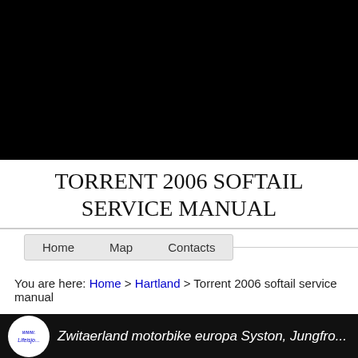[Figure (photo): Black banner/header image at the top of the page]
TORRENT 2006 SOFTAIL SERVICE MANUAL
Home   Map   Contacts
You are here: Home > Hartland > Torrent 2006 softail service manual
[Figure (photo): Bottom black banner with circular logo reading www.Lifeisjo... and italic text: Zwitaerland motorbike europa Syston, Jungfro...]